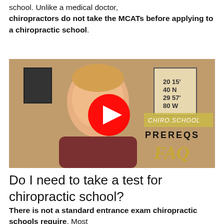school. Unlike a medical doctor, chiropractors do not take the MCATs before applying to a chiropractic school.
[Figure (screenshot): YouTube video thumbnail showing a young man smiling, with a red YouTube play button in the center. Text overlay on the right reads 'CHIRO.SCHOOL PREREQS FAQ' in gold/yellow italic font.]
Do I need to take a test for chiropractic school?
There is not a standard entrance exam chiropractic schools require. Most